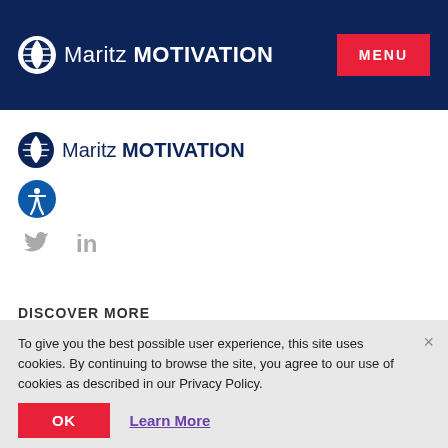Maritz MOTIVATION | MENU
[Figure (logo): Maritz Motivation logo with globe icon and social icons (Twitter, LinkedIn), plus accessibility icon]
DISCOVER MORE
To give you the best possible user experience, this site uses cookies. By continuing to browse the site, you agree to our use of cookies as described in our Privacy Policy.